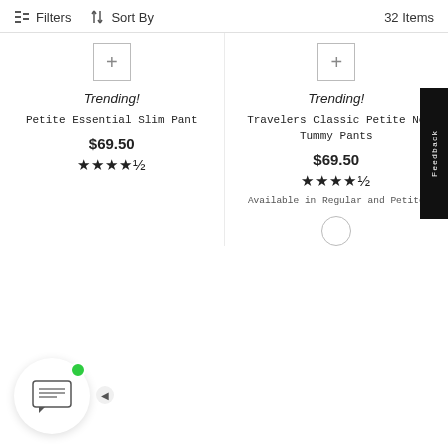Filters  Sort By  32 Items
Trending!
Petite Essential Slim Pant
$69.50
★★★★½
Trending!
Travelers Classic Petite No Tummy Pants
$69.50
★★★★½
Available in Regular and Petite
[Figure (other): Color swatch circle (white/empty)]
[Figure (other): Feedback vertical tab on right edge]
[Figure (other): Chat widget icon bottom left with green dot and arrow]